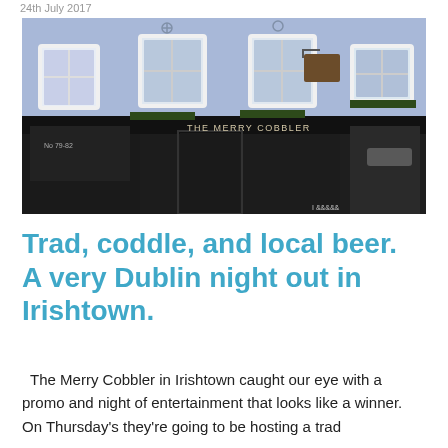24th July 2017
[Figure (photo): Exterior of The Merry Cobbler pub in Irishtown, a light blue/periwinkle building with white-trimmed windows and a dark black shopfront fascia. The pub name 'THE MERRY COBBLER' is visible in text on the black shopfront.]
Trad, coddle, and local beer. A very Dublin night out in Irishtown.
The Merry Cobbler in Irishtown caught our eye with a promo and night of entertainment that looks like a winner. On Thursday's they're going to be hosting a trad